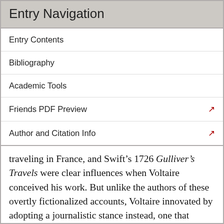Entry Navigation
Entry Contents
Bibliography
Academic Tools
Friends PDF Preview
Author and Citation Info
traveling in France, and Swift’s 1726 Gulliver’s Travels were clear influences when Voltaire conceived his work. But unlike the authors of these overtly fictionalized accounts, Voltaire innovated by adopting a journalistic stance instead, one that offered readers an empirically recognizable account of several aspects of English society. Originally titled Letters on England, Voltaire left a draft of the text with a London publisher before returning home in 1729. Once in France, he began to expand the work, adding to the letters drafted while in England, which focused largely on the different religious